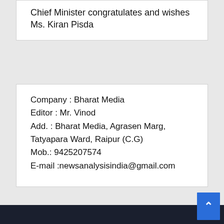Chief Minister congratulates and wishes Ms. Kiran Pisda
Company : Bharat Media
Editor : Mr. Vinod
Add. : Bharat Media, Agrasen Marg, Tatyapara Ward, Raipur (C.G)
Mob.: 9425207574
E-mail :newsanalysisindia@gmail.com